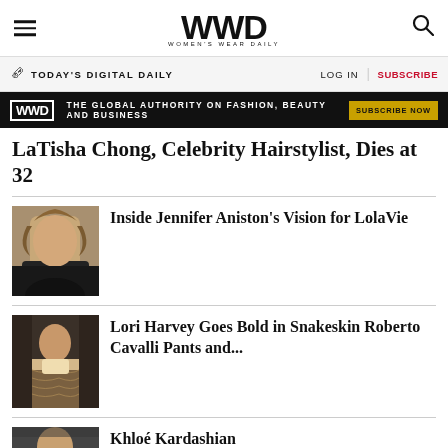WWD WOMEN'S WEAR DAILY
TODAY'S DIGITAL DAILY | LOG IN | SUBSCRIBE
[Figure (other): WWD ad banner: THE GLOBAL AUTHORITY ON FASHION, BEAUTY AND BUSINESS — SUBSCRIBE NOW]
LaTisha Chong, Celebrity Hairstylist, Dies at 32
[Figure (photo): Photo of Jennifer Aniston with long wavy hair, wearing black top]
Inside Jennifer Aniston's Vision for LolaVie
[Figure (photo): Photo of Lori Harvey wearing snakeskin Roberto Cavalli pants]
Lori Harvey Goes Bold in Snakeskin Roberto Cavalli Pants and...
[Figure (photo): Partial photo of Khloé Kardashian]
Khloé Kardashian